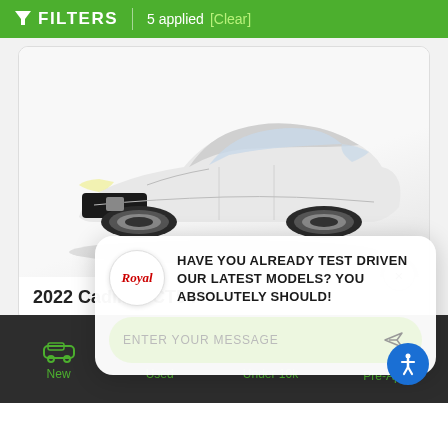FILTERS | 5 applied [Clear]
[Figure (screenshot): White 2022 Cadillac CT5 sedan photographed from front-left angle on white background]
2022 Cadillac CT5 P
# C5156
23/33 mpg
HAVE YOU ALREADY TEST DRIVEN OUR LATEST MODELS? YOU ABSOLUTELY SHOULD!
ENTER YOUR MESSAGE
New | Used | Under 10k | Pre-App